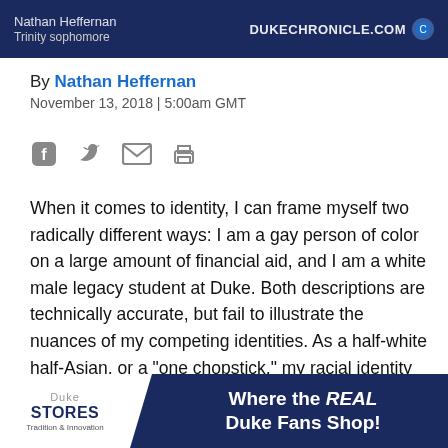Nathan Heffernan | Trinity sophomore | DUKECHRONICLE.COM
By Nathan Heffernan
November 13, 2018 | 5:00am GMT
[Figure (infographic): Social sharing icons: Facebook, Twitter, Email, Print]
When it comes to identity, I can frame myself two radically different ways: I am a gay person of color on a large amount of financial aid, and I am a white male legacy student at Duke. Both descriptions are technically accurate, but fail to illustrate the nuances of my competing identities. As a half-white half-Asian, or a "one chopstick," my racial identity has remained inconsistent to myself and others. I feel like I fluctuate betwe... the scena... ge, we
[Figure (advertisement): Duke Stores advertisement banner: Where the REAL Duke Fans Shop!]